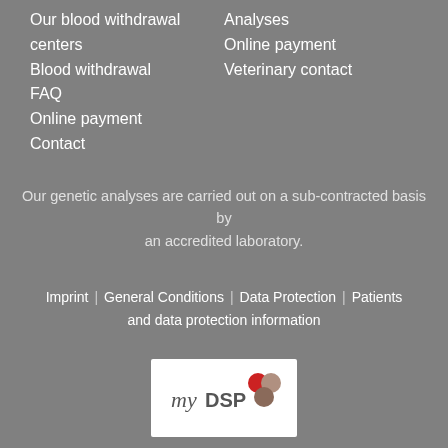Our blood withdrawal centers
Blood withdrawal
FAQ
Online payment
Contact
Analyses
Online payment
Veterinary contact
Our genetic analyses are carried out on a sub-contracted basis by an accredited laboratory.
Imprint | General Conditions | Data Protection | Patients and data protection information
[Figure (logo): myDSP logo - white box with 'my DSP' text and colored dots (red, taupe, brown)]